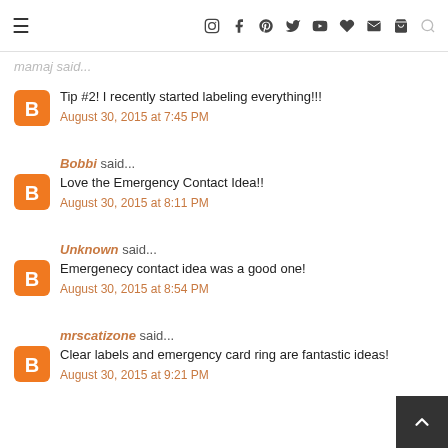mamaj said...
Tip #2! I recently started labeling everything!!!
August 30, 2015 at 7:45 PM
Bobbi said...
Love the Emergency Contact Idea!!
August 30, 2015 at 8:11 PM
Unknown said...
Emergenecy contact idea was a good one!
August 30, 2015 at 8:54 PM
mrscatizone said...
Clear labels and emergency card ring are fantastic ideas!
August 30, 2015 at 9:21 PM